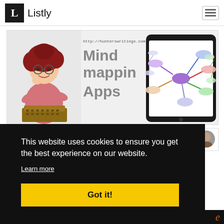L  Listly
[Figure (illustration): Listly website screenshot showing a Mind Mapping Apps banner with cartoon woman at typewriter, URL http://hunterswritings.com, and a tablet showing a colorful mind map diagram]
This website uses cookies to ensure you get the best experience on our website.
Learn more
Got it!